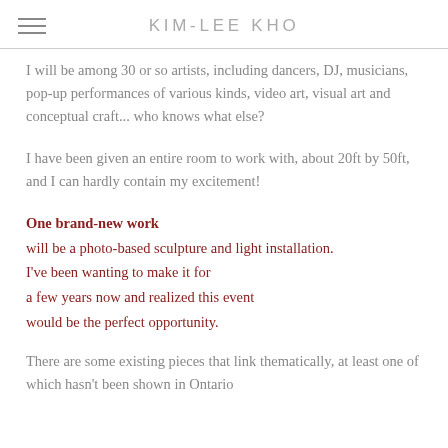KIM-LEE KHO
I will be among 30 or so artists, including dancers, DJ, musicians, pop-up performances of various kinds, video art, visual art and conceptual craft... who knows what else?
I have been given an entire room to work with, about 20ft by 50ft, and I can hardly contain my excitement!
One brand-new work will be a photo-based sculpture and light installation. I've been wanting to make it for a few years now and realized this event would be the perfect opportunity.
There are some existing pieces that link thematically, at least one of which hasn't been shown in Ontario